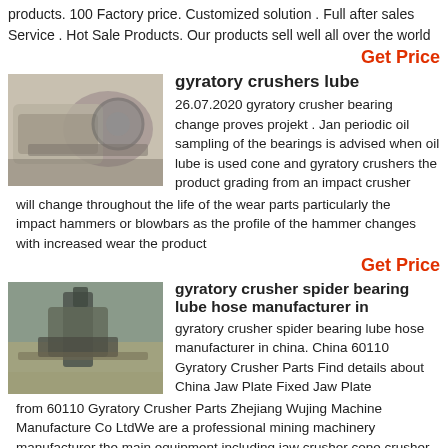products. 100 Factory price. Customized solution . Full after sales Service . Hot Sale Products. Our products sell well all over the world
Get Price
[Figure (photo): Photo of a gyratory crusher machine, industrial equipment in grey/white colors]
gyratory crushers lube
26.07.2020  gyratory crusher bearing change proves projekt . Jan periodic oil sampling of the bearings is advised when oil lube is used cone and gyratory crushers the product grading from an impact crusher will change throughout the life of the wear parts particularly the impact hammers or blowbars as the profile of the hammer changes with increased wear the product
Get Price
[Figure (photo): Photo of a large gyratory crusher plant/installation in outdoor industrial setting]
gyratory crusher spider bearing lube hose manufacturer in
gyratory crusher spider bearing lube hose manufacturer in china. China 60110 Gyratory Crusher Parts Find details about China Jaw Plate Fixed Jaw Plate from 60110 Gyratory Crusher Parts Zhejiang Wujing Machine Manufacture Co LtdWe are a professional mining machinery manufacturer the main equipment including jaw crusher cone crusher and other sandstone
Get Price